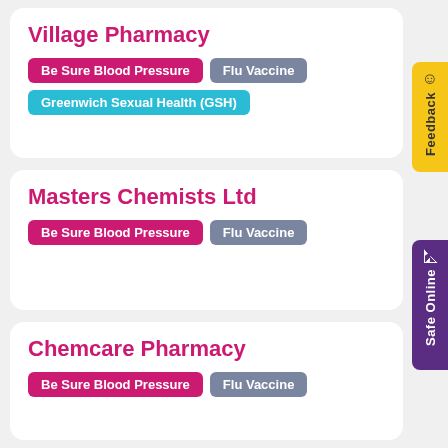Village Pharmacy
Be Sure Blood Pressure
Flu Vaccine
Greenwich Sexual Health (GSH)
Masters Chemists Ltd
Be Sure Blood Pressure
Flu Vaccine
Chemcare Pharmacy
Be Sure Blood Pressure
Flu Vaccine